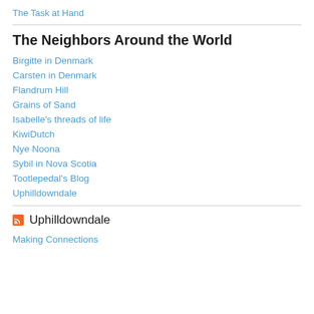The Task at Hand
The Neighbors Around the World
Birgitte in Denmark
Carsten in Denmark
Flandrum Hill
Grains of Sand
Isabelle's threads of life
KiwiDutch
Nye Noona
Sybil in Nova Scotia
Tootlepedal's Blog
Uphilldowndale
Uphilldowndale
Making Connections